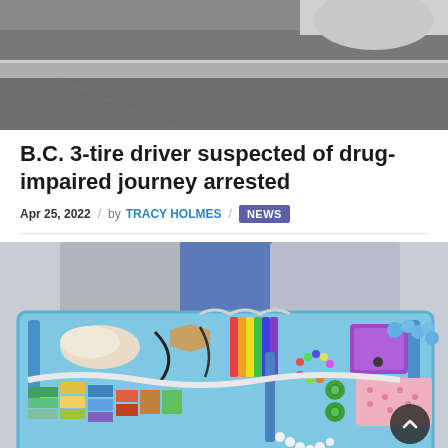[Figure (photo): Close-up photo of a road surface and curb, likely showing a vehicle with a missing tire, asphalt and concrete visible.]
B.C. 3-tire driver suspected of drug-impaired journey arrested
Apr 25, 2022 / by TRACY HOLMES / NEWS
[Figure (photo): A child or person holding a colorful sensory/activity board with zippers, felt shapes, beads, buttons, and various textures on a light blue background.]